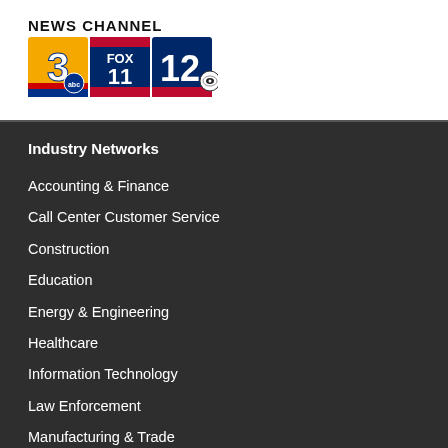[Figure (logo): News Channel 3 ABC / FOX 11 / 12 CBS broadcast TV station logos]
Industry Networks
Accounting & Finance
Call Center Customer Service
Construction
Education
Energy & Engineering
Healthcare
Information Technology
Law Enforcement
Manufacturing & Trade